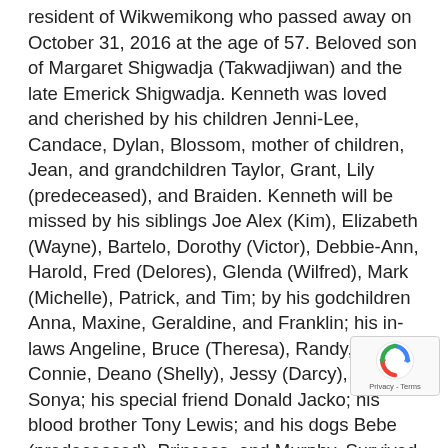resident of Wikwemikong who passed away on October 31, 2016 at the age of 57. Beloved son of Margaret Shigwadja (Takwadjiwan) and the late Emerick Shigwadja. Kenneth was loved and cherished by his children Jenni-Lee, Candace, Dylan, Blossom, mother of children, Jean, and grandchildren Taylor, Grant, Lily (predeceased), and Braiden. Kenneth will be missed by his siblings Joe Alex (Kim), Elizabeth (Wayne), Bartelo, Dorothy (Victor), Debbie-Ann, Harold, Fred (Delores), Glenda (Wilfred), Mark (Michelle), Patrick, and Tim; by his godchildren Anna, Maxine, Geraldine, and Franklin; his in-laws Angeline, Bruce (Theresa), Randy, Connie, Deano (Shelly), Jessy (Darcy), and Sonya; his special friend Donald Jacko; his blood brother Tony Lewis; and his dogs Bebe (predeceased), Princess, and Murphy. Survived by many nieces and nephews. Kenneth enjoyed playing guitar, listening to classic country music, working on his cra wood carving, leather work, and working outdoors, inc logging and fishing. He loved spending time with his nieces
[Figure (other): reCAPTCHA badge with Google reCAPTCHA logo and Privacy - Terms text]